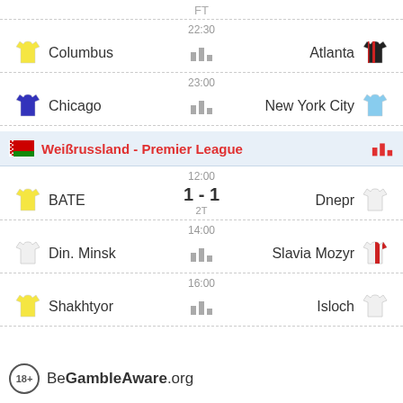FT
22:30 Columbus vs Atlanta
23:00 Chicago vs New York City
Weißrussland - Premier League
12:00 BATE 1 - 1 Dnepr 2T
14:00 Din. Minsk vs Slavia Mozyr
16:00 Shakhtyor vs Isloch
18+ BeGambleAware.org